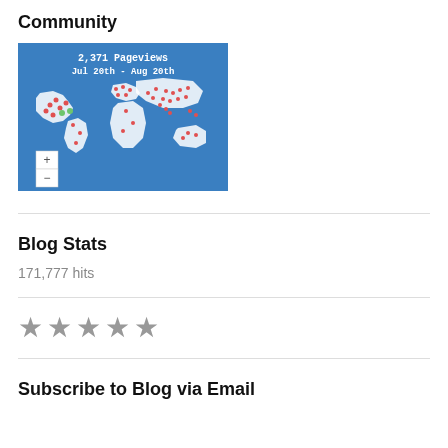Community
[Figure (map): World map showing pageview locations with red and green dots. Header text: '2,371 Pageviews Jul 20th - Aug 20th'. Blue background with white world map continents. Zoom +/- controls in bottom left.]
Blog Stats
171,777 hits
[Figure (other): Five gray star rating icons in a row]
Subscribe to Blog via Email